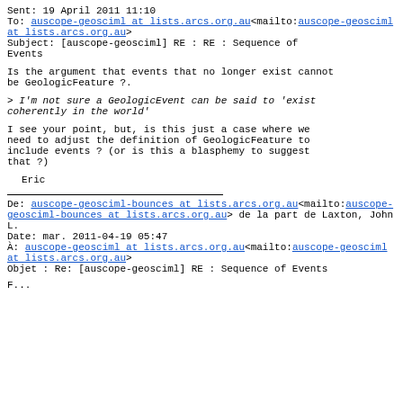Sent: 19 April 2011 11:10
To: auscope-geosciml at lists.arcs.org.au<mailto:auscope-geosciml at lists.arcs.org.au>
Subject: [auscope-geosciml] RE : RE : Sequence of Events
Is the argument that events that no longer exist cannot be GeologicFeature ?.
> I'm not sure a GeologicEvent can be said to 'exist coherently in the world'
I see your point, but, is this just a case where we need to adjust the definition of GeologicFeature to include events ? (or is this a blasphemy to suggest that ?)
Eric
De: auscope-geosciml-bounces at lists.arcs.org.au<mailto:auscope-geosciml-bounces at lists.arcs.org.au> de la part de Laxton, John L.
Date: mar. 2011-04-19 05:47
À: auscope-geosciml at lists.arcs.org.au<mailto:auscope-geosciml at lists.arcs.org.au>
Objet : Re: [auscope-geosciml] RE : Sequence of Events
F...